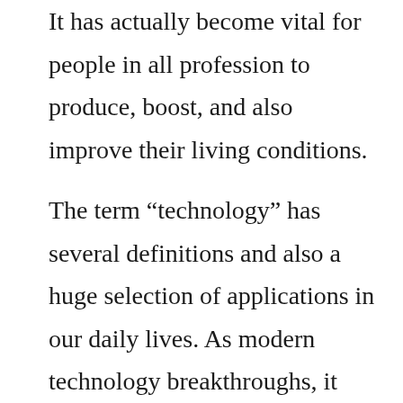It has actually become vital for people in all profession to produce, boost, and also improve their living conditions.
The term “technology” has several definitions and also a huge selection of applications in our daily lives. As modern technology breakthroughs, it ends up being more important than ever before to comprehend how people shape and use the modern technologies they develop. The word itself has no neutral significance and also will